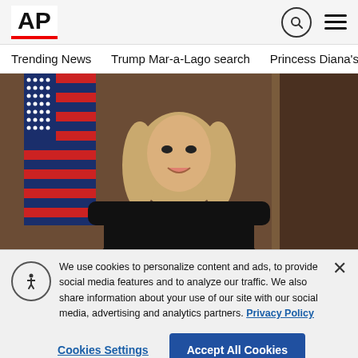AP
Trending News   Trump Mar-a-Lago search   Princess Diana's dea
[Figure (photo): A woman with blonde hair wearing black judicial robes, seated in front of an American flag and wooden paneling — a judge's official portrait.]
We use cookies to personalize content and ads, to provide social media features and to analyze our traffic. We also share information about your use of our site with our social media, advertising and analytics partners. Privacy Policy
Cookies Settings   Accept All Cookies